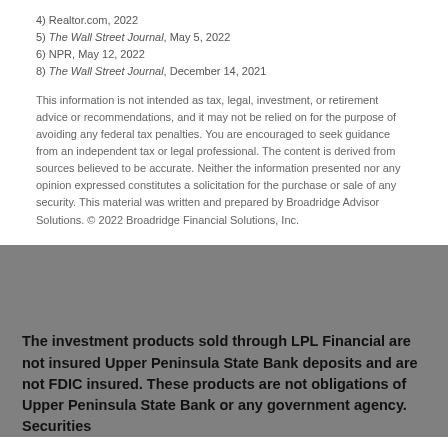4) Realtor.com, 2022
5) The Wall Street Journal, May 5, 2022
6) NPR, May 12, 2022
8) The Wall Street Journal, December 14, 2021
This information is not intended as tax, legal, investment, or retirement advice or recommendations, and it may not be relied on for the purpose of avoiding any federal tax penalties. You are encouraged to seek guidance from an independent tax or legal professional. The content is derived from sources believed to be accurate. Neither the information presented nor any opinion expressed constitutes a solicitation for the purchase or sale of any security. This material was written and prepared by Broadridge Advisor Solutions. © 2022 Broadridge Financial Solutions, Inc.
The investment products sold through LPL Financial are not insured Upper Peninsula State Bank deposits and are not FDIC insured. These products are not obligations of Upper Peninsula State Bank or any government agency. Securities